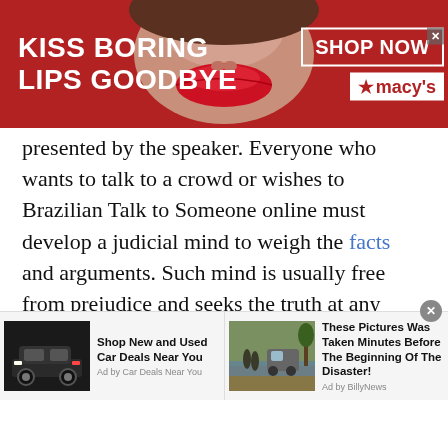[Figure (other): Advertisement banner with red background showing 'KISS BORING LIPS GOODBYE' text, woman's lips photo, SHOP NOW button and Macy's logo]
presented by the speaker. Everyone who wants to talk to a crowd or wishes to Brazilian Talk to Someone online must develop a judicial mind to weigh the facts and arguments. Such mind is usually free from prejudice and seeks the truth at any cost.
If you Brazilian Talk to Someone online your voice plays an important role in a voice chat. One should always have a good choice of words and should take good care while pronouncing the words. One way of improving your speaking skills is to read aloud the text you have pre-
[Figure (other): Two advertisement panels at bottom: left shows SUV car with 'Shop New and Used Car Deals Near You' by Car Deals Near You; right shows flood scene with 'These Pictures Was Taken Minutes Before The Beginning Of The Disaster!' by BillyNews]